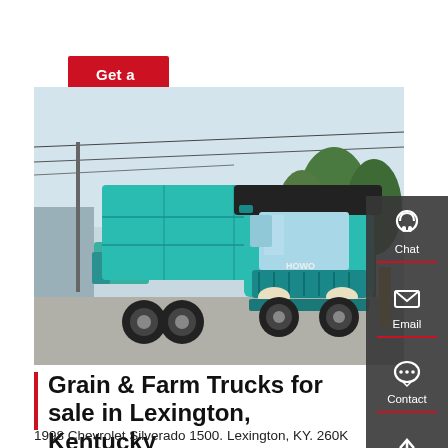Get a Quote
[Figure (photo): A teal/cyan Sinotruk HOWO dump truck parked in a lot, front three-quarter view, trees and power lines in the background.]
Grain & Farm Trucks for sale in Lexington, Kentucky
1998 Chevrolet Silverado 1500. Lexington, KY. 260K